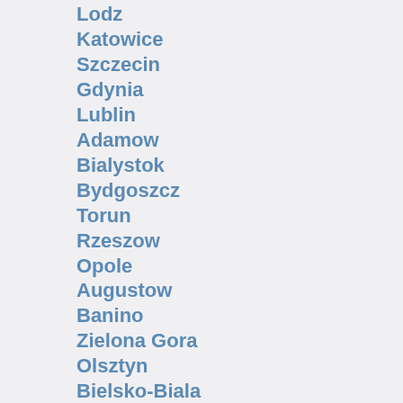Lodz
Katowice
Szczecin
Gdynia
Lublin
Adamow
Bialystok
Bydgoszcz
Torun
Rzeszow
Opole
Augustow
Banino
Zielona Gora
Olsztyn
Bielsko-Biala
Lubin
Aleksandrow Kujawski